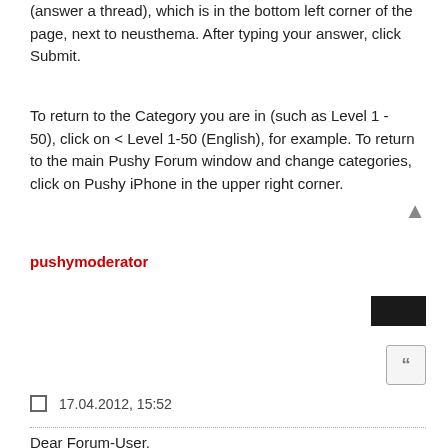(answer a thread), which is in the bottom left corner of the page, next to neusthema. After typing your answer, click Submit.
To return to the Category you are in (such as Level 1 - 50), click on < Level 1-50 (English), for example. To return to the main Pushy Forum window and change categories, click on Pushy iPhone in the upper right corner.
pushymoderator
17.04.2012, 15:52
Dear Forum-User,

please check out if there is still a thread to your question bevor starting
to create a new one. This will help to make this forum stay clearly.